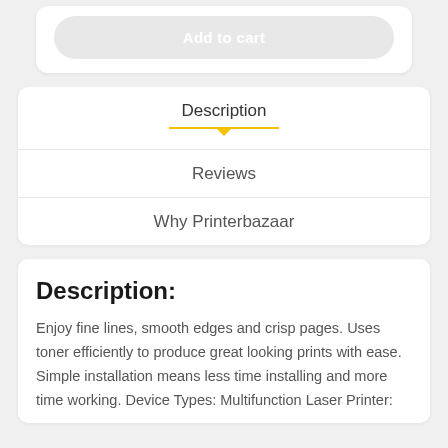[Figure (screenshot): Add to cart button rendered as a rounded grey pill button]
Description
Reviews
Why Printerbazaar
Description:
Enjoy fine lines, smooth edges and crisp pages. Uses toner efficiently to produce great looking prints with ease. Simple installation means less time installing and more time working. Device Types: Multifunction Laser Printer: